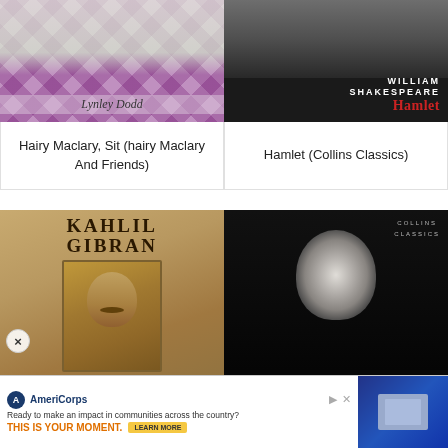[Figure (illustration): Book cover: Hairy Maclary, Sit by Lynley Dodd — purple argyle pattern background with trees and curly text]
[Figure (illustration): Book cover: Hamlet Collins Classics by William Shakespeare — dark background with stacked books, white author name, red Hamlet title]
Hairy Maclary, Sit (hairy Maclary And Friends)
Hamlet (Collins Classics)
[Figure (illustration): Book cover: Kahlil Gibran Man and Poet biography — tan portrait cover with large serif KAHLIL GIBRAN title]
[Figure (illustration): Book cover: King Lear Collins Classics by William Shakespeare — black background with face, white author name, green King Lear title]
Kahlil Gibran: Man and
King Lear (Collins Classics)
[Figure (screenshot): AmeriCorps advertisement banner: logo, tagline 'Ready to make an impact in communities across the country?', bold orange text 'THIS IS YOUR MOMENT.', yellow LEARN MORE button, and a right panel with blue computer screen image]